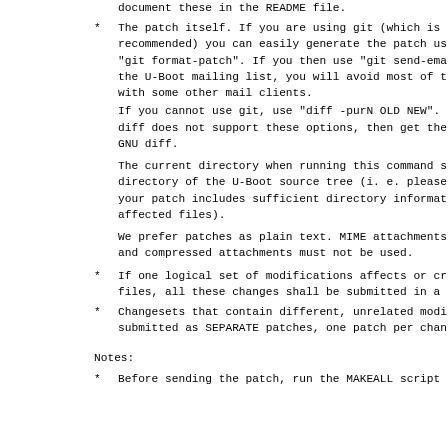document these in the README file.
The patch itself. If you are using git (which is recommended) you can easily generate the patch us. "git format-patch". If you then use "git send-ema. the U-Boot mailing list, you will avoid most of th with some other mail clients.

If you cannot use git, use "diff -purN OLD NEW". diff does not support these options, then get the GNU diff.

The current directory when running this command sh directory of the U-Boot source tree (i. e. please your patch includes sufficient directory informat. affected files).

We prefer patches as plain text. MIME attachments and compressed attachments must not be used.
If one logical set of modifications affects or cr. files, all these changes shall be submitted in a s
Changesets that contain different, unrelated modi submitted as SEPARATE patches, one patch per chan.
Notes:
Before sending the patch, run the MAKEALL script